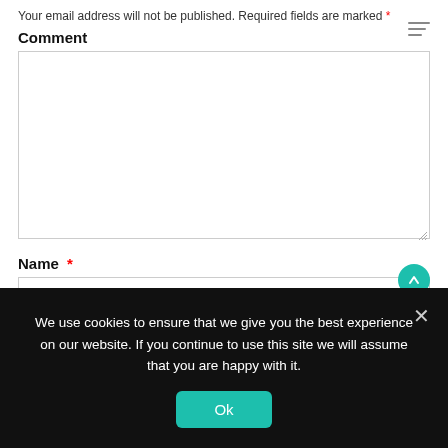Your email address will not be published. Required fields are marked *
Comment
[Figure (other): Large empty comment textarea input field with resize handle]
Name *
[Figure (other): Name text input field]
We use cookies to ensure that we give you the best experience on our website. If you continue to use this site we will assume that you are happy with it.
Ok